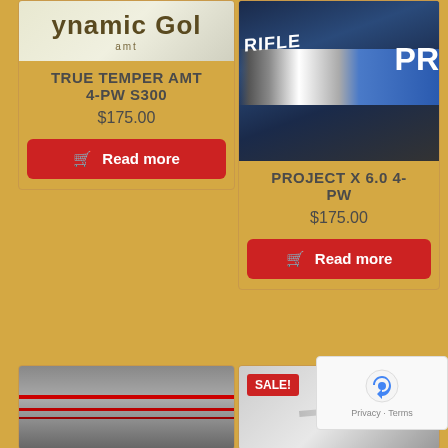[Figure (photo): Dynamic Gold AMT product logo/image, showing partial text 'ynamic Gol' with AMT branding on light background]
TRUE TEMPER AMT 4-PW S300
$175.00
Read more
[Figure (photo): Rifle Project X shaft close-up photo showing blue shaft with white RIFLE and PR text on dark background]
PROJECT X 6.0 4-PW
$175.00
Read more
[Figure (photo): Bottom left product image showing red golf shafts]
[Figure (photo): Bottom right product image with SALE! badge showing silver/white golf shaft]
[Figure (other): reCAPTCHA widget with robot icon and Privacy/Terms text]